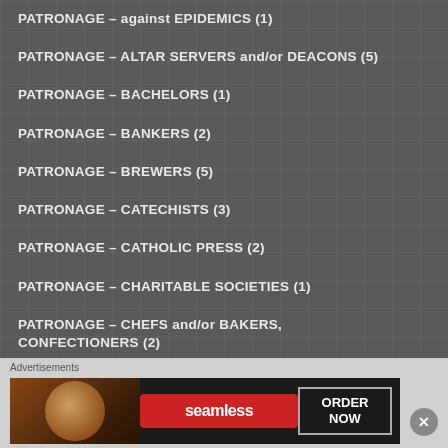PATRONAGE – against EPIDEMICS (1)
PATRONAGE – ALTAR SERVERS and/or DEACONS (5)
PATRONAGE – BACHELORS (1)
PATRONAGE – BANKERS (2)
PATRONAGE – BREWERS (5)
PATRONAGE – CATECHISTS (3)
PATRONAGE – CATHOLIC PRESS (2)
PATRONAGE – CHARITABLE SOCIETIES (1)
PATRONAGE – CHEFS and/or BAKERS, CONFECTIONERS (2)
PATRONAGE – CONFESSORS (2)
PATRONAGE – DEAD… or DECEASED (1)
[Figure (infographic): Seamless food ordering advertisement banner with pizza image, Seamless logo in red, and ORDER NOW button]